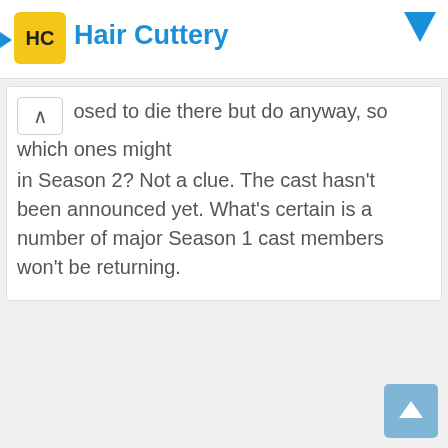Hair Cuttery
osed to die there but do anyway, so which ones might in Season 2? Not a clue. The cast hasn't been announced yet. What's certain is a number of major Season 1 cast members won't be returning.